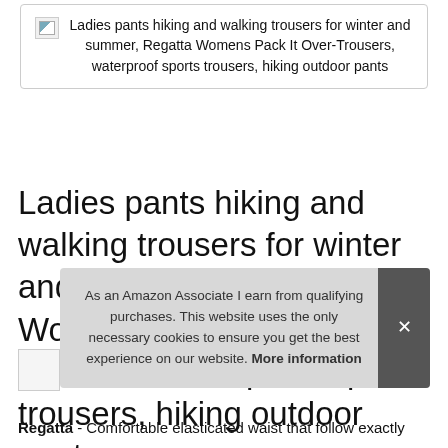[Figure (screenshot): Product card box with broken image icon and product title text inside a bordered rounded rectangle]
Ladies pants hiking and walking trousers for winter and summer, Regatta Womens Pack It Over-Trousers, waterproof sports trousers, hiking outdoor pants
As an Amazon Associate I earn from qualifying purchases. This website uses the only necessary cookies to ensure you get the best experience on our website. More information
Regatta - Comfortable elasticated waist that follow exactly